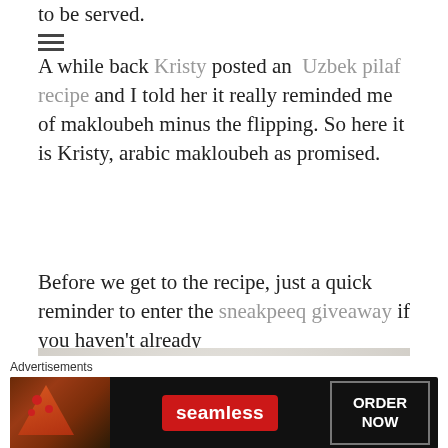to be served.
A while back Kristy posted an Uzbek pilaf recipe and I told her it really reminded me of makloubeh minus the flipping. So here it is Kristy, arabic makloubeh as promised.
Before we get to the recipe, just a quick reminder to enter the sneakpeeq giveaway if you haven't already
[Figure (photo): A food photo showing a mound of rice (makloubeh) garnished with fresh herbs and almonds on the left, and a white bowl of yogurt sauce garnished with herbs on the right, on a light background.]
Advertisements
[Figure (screenshot): A Seamless food ordering advertisement banner with pizza image on the left, Seamless logo in the center, and ORDER NOW button on the right, on a dark background.]